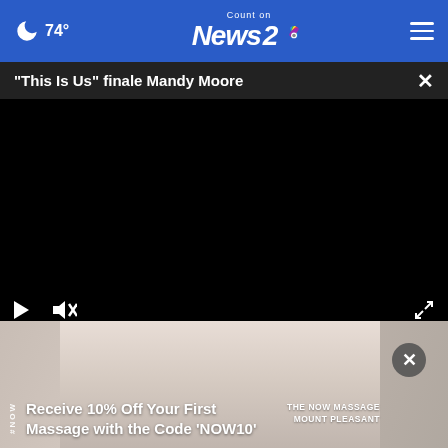74° Count on News 2
"This Is Us" finale Mandy Moore
[Figure (screenshot): Black video player area with play controls, mute button, and fullscreen button at the bottom]
[Figure (photo): Advertisement overlay showing a hand holding a jar, with text: Receive 10% Off Your First Massage with the Code 'NOW10' — THE NOW MASSAGE MOUNT PLEASANT]